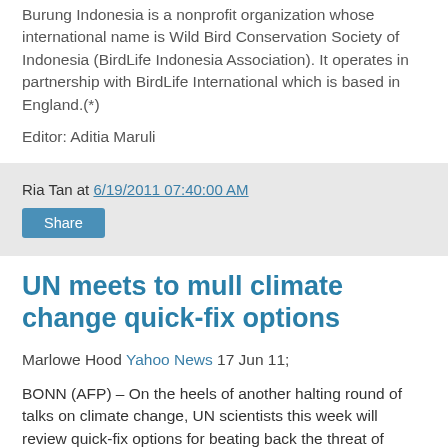Burung Indonesia is a nonprofit organization whose international name is Wild Bird Conservation Society of Indonesia (BirdLife Indonesia Association). It operates in partnership with BirdLife International which is based in England.(*)
Editor: Aditia Maruli
Ria Tan at 6/19/2011 07:40:00 AM
Share
UN meets to mull climate change quick-fix options
Marlowe Hood Yahoo News 17 Jun 11;
BONN (AFP) – On the heels of another halting round of talks on climate change, UN scientists this week will review quick-fix options for beating back the threat of global warming that